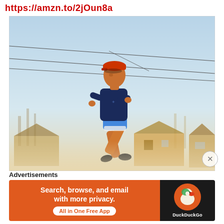https://amzn.to/2jOun8a
[Figure (photo): A man running outdoors on a suburban street, wearing a navy long-sleeve shirt, blue shorts, and an orange cap. Power lines cross the sky overhead. Houses and bare trees are visible in the misty background.]
Advertisements
[Figure (screenshot): DuckDuckGo advertisement banner: orange left panel reads 'Search, browse, and email with more privacy. All in One Free App'; dark right panel shows the DuckDuckGo duck logo and brand name.]